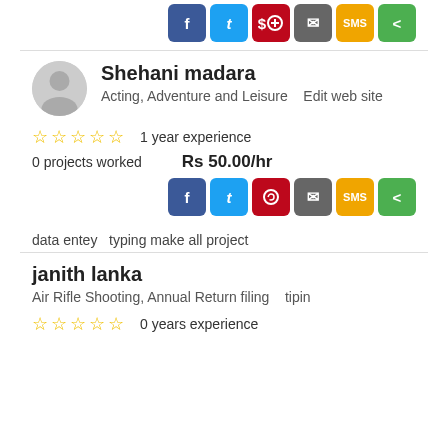[Figure (other): Social share buttons row at top: Facebook, Twitter, Pinterest, Email, SMS, Share]
Shehani madara
Acting, Adventure and Leisure   Edit web site
1 year experience
0 projects worked    Rs 50.00/hr
[Figure (other): Social share buttons row: Facebook, Twitter, Pinterest, Email, SMS, Share]
data entey  typing make all project
janith lanka
Air Rifle Shooting, Annual Return filing   tipin
0 years experience